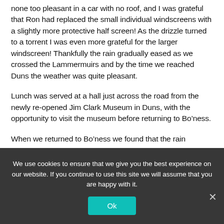none too pleasant in a car with no roof, and I was grateful that Ron had replaced the small individual windscreens with a slightly more protective half screen! As the drizzle turned to a torrent I was even more grateful for the larger windscreen! Thankfully the rain gradually eased as we crossed the Lammermuirs and by the time we reached Duns the weather was quite pleasant.
Lunch was served at a hall just across the road from the newly re-opened Jim Clark Museum in Duns, with the opportunity to visit the museum before returning to Bo’ness.
When we returned to Bo’ness we found that the rain...
We use cookies to ensure that we give you the best experience on our website. If you continue to use this site we will assume that you are happy with it.